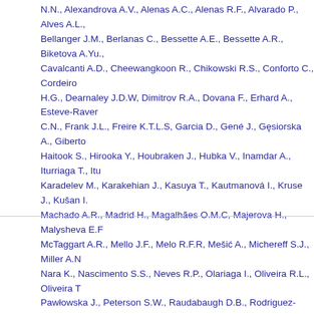N.N., Alexandrova A.V., Alenas A.C., Alenas R.F., Alvarado P., Alves A.L., Bellanger J.M., Berlanas C., Bessette A.E., Bessette A.R., Biketova A.Yu., Cavalcanti A.D., Cheewangkoon R., Chikowski R.S., Conforto C., Cordeiro H.G., Dearnaley J.D.W, Dimitrov R.A., Dovana F., Erhard A., Esteve-Raventos C.N., Frank J.L., Freire K.T.L.S, Garcia D., Gené J., Gęsiorska A., Giberton Haitook S., Hirooka Y., Houbraken J., Hubka V., Inamdar A., Iturriaga T., Itu Karadelev M., Karakehian J., Kasuya T., Kautmanová I., Kruse J., Kušan I. Machado A.R., Madrid H., Magalhães O.M.C, Majerova H., Malysheva E.F McTaggart A.R., Mello J.F., Melo R.F.R, Mešić A., Michereff S.J., Miller A.N Nara K., Nascimento S.S., Neves R.P., Olariaga I., Oliveira R.L., Oliveira T Pawłowska J., Peterson S.W., Raudabaugh D.B., Rodriguez-Andrade E., N.A., Shah S., Sharma J., Silva B.D.B, Siquier J.L., Sonawane M.S., Stchi Z., Tomashevskava M.A., Truong H.H., Vecherskii M.V., Visagie C.M., Vizz Groenewald J.Z.
в журнале Persoonia, издательство National Herbarium Nederland/Leide